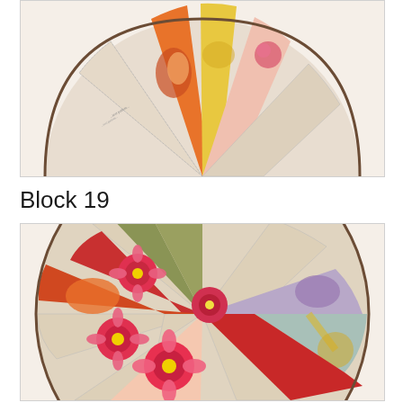[Figure (photo): A circular patchwork quilt block (top portion visible) showing various fabric patterns including floral prints, orange swirls, yellow sections, and vintage sewing pattern paper fabrics in a fan/Dresden plate arrangement.]
Block 19
[Figure (photo): A circular patchwork quilt block (Block 19) showing a Dresden plate or fan pattern with colorful fabric wedges including red floral prints with pink flowers, orange and red swirl patterns, vintage sewing pattern paper fabric, olive/sage green solid fabric, and light blue fabric with botanical prints. The arrangement creates a pinwheel-like design.]